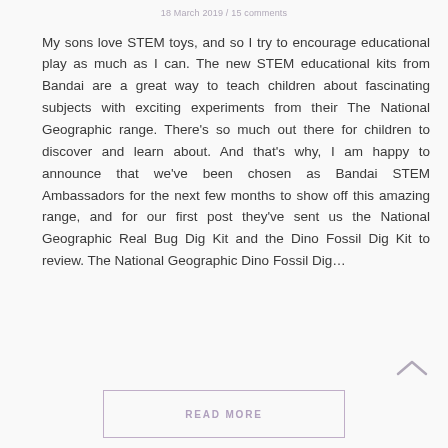18 March 2019 / 15 comments
My sons love STEM toys, and so I try to encourage educational play as much as I can. The new STEM educational kits from Bandai are a great way to teach children about fascinating subjects with exciting experiments from their The National Geographic range. There’s so much out there for children to discover and learn about. And that’s why, I am happy to announce that we’ve been chosen as Bandai STEM Ambassadors for the next few months to show off this amazing range, and for our first post they’ve sent us the National Geographic Real Bug Dig Kit and the Dino Fossil Dig Kit to review. The National Geographic Dino Fossil Dig…
READ MORE